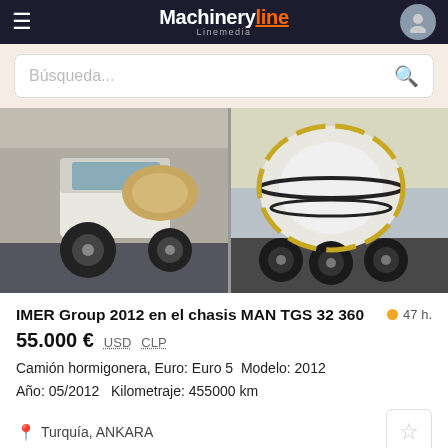Machineryline Linemedia
Búsqueda...
[Figure (photo): Two concrete mixer trucks (camiones hormigonera) photographed side by side. Left photo shows the white cab of a MAN TGS truck. Right photo shows the rear mixing drum of a concrete mixer truck.]
IMER Group 2012 en el chasis MAN TGS 32 360
47 h.
55.000 €  USD  CLP
Camión hormigonera, Euro: Euro 5  Modelo: 2012
Año: 05/2012   Kilometraje: 455000 km
Turquía, ANKARA
[Figure (photo): Four small thumbnail photos of construction/mixer trucks at the bottom of the page. First thumbnail shows a blue sky background and has a badge showing '6' photos.]